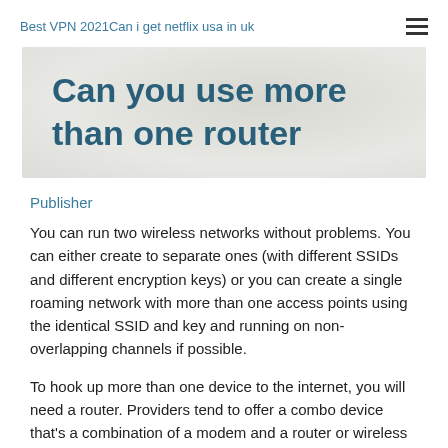Best VPN 2021Can i get netflix usa in uk
Can you use more than one router
Publisher
You can run two wireless networks without problems. You can either create to separate ones (with different SSIDs and different encryption keys) or you can create a single roaming network with more than one access points using the identical SSID and key and running on non-overlapping channels if possible.
To hook up more than one device to the internet, you will need a router. Providers tend to offer a combo device that's a combination of a modem and a router or wireless router all in